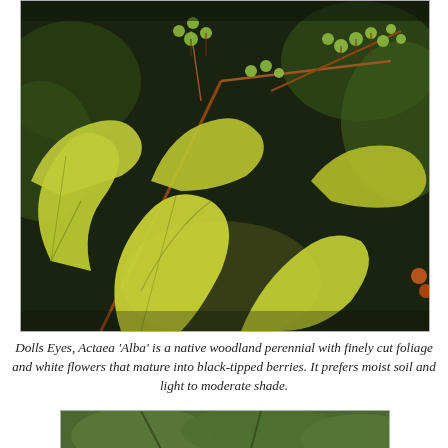[Figure (photo): Close-up photograph of Dolls Eyes (Actaea 'Alba') plant with yellow-green lobed leaves and clusters of small round green berries on reddish stems against a dark background.]
Dolls Eyes, Actaea 'Alba' is a native woodland perennial with finely cut foliage and white flowers that mature into black-tipped berries. It prefers moist soil and light to moderate shade.
[Figure (photo): Partial view of another plant photograph at the bottom of the page.]